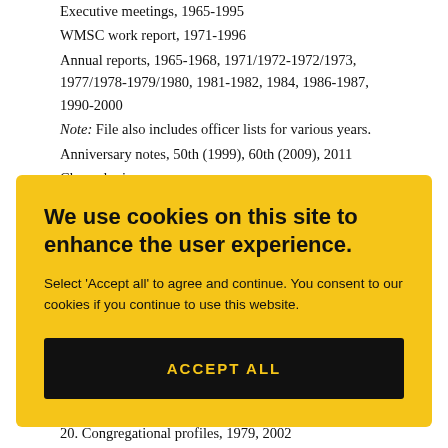Executive meetings, 1965-1995
WMSC work report, 1971-1996
Annual reports, 1965-1968, 1971/1972-1972/1973, 1977/1978-1979/1980, 1981-1982, 1984, 1986-1987, 1990-2000
Note: File also includes officer lists for various years.
Anniversary notes, 50th (1999), 60th (2009), 2011
Chronologies
We use cookies on this site to enhance the user experience. Select ‘Accept all’ to agree and continue. You consent to our cookies if you continue to use this website. ACCEPT ALL
20. Congregational profiles, 1979, 2002